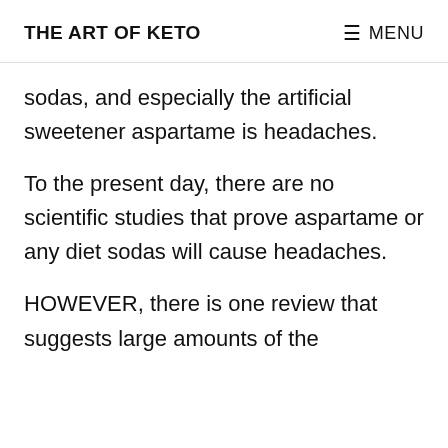THE ART OF KETO   ≡ MENU
sodas, and especially the artificial sweetener aspartame is headaches.
To the present day, there are no scientific studies that prove aspartame or any diet sodas will cause headaches.
HOWEVER, there is one review that suggests large amounts of the